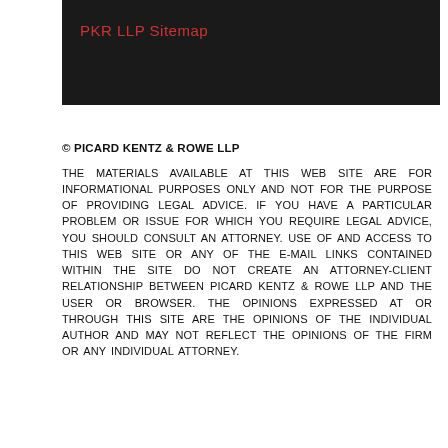PKR LLP Sitemap
© PICARD KENTZ & ROWE LLP THE MATERIALS AVAILABLE AT THIS WEB SITE ARE FOR INFORMATIONAL PURPOSES ONLY AND NOT FOR THE PURPOSE OF PROVIDING LEGAL ADVICE. IF YOU HAVE A PARTICULAR PROBLEM OR ISSUE FOR WHICH YOU REQUIRE LEGAL ADVICE, YOU SHOULD CONSULT AN ATTORNEY. USE OF AND ACCESS TO THIS WEB SITE OR ANY OF THE E-MAIL LINKS CONTAINED WITHIN THE SITE DO NOT CREATE AN ATTORNEY-CLIENT RELATIONSHIP BETWEEN PICARD KENTZ & ROWE LLP AND THE USER OR BROWSER. THE OPINIONS EXPRESSED AT OR THROUGH THIS SITE ARE THE OPINIONS OF THE INDIVIDUAL AUTHOR AND MAY NOT REFLECT THE OPINIONS OF THE FIRM OR ANY INDIVIDUAL ATTORNEY.